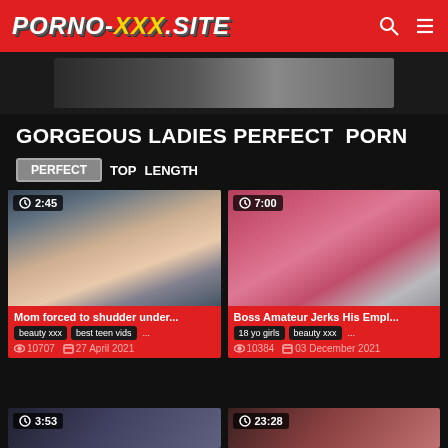PORNO-XXX.SITE
GORGEOUS LADIES PERFECT  PORN
PERFECT  TOP  LENGTH
[Figure (photo): Video thumbnail 1 – duration 2:45, title: Mom forced to shudder under..., tags: beauty xxx, best teen vids, views: 10707, date: 27 April 2021]
[Figure (photo): Video thumbnail 2 – duration 7:00, title: Boss Amateur Jerks His Empl..., tags: 18 yo girls, beauty xxx, views: 10384, date: 03 December 2021]
[Figure (photo): Video thumbnail 3 partial – duration 3:53]
[Figure (photo): Video thumbnail 4 partial – duration 23:28]